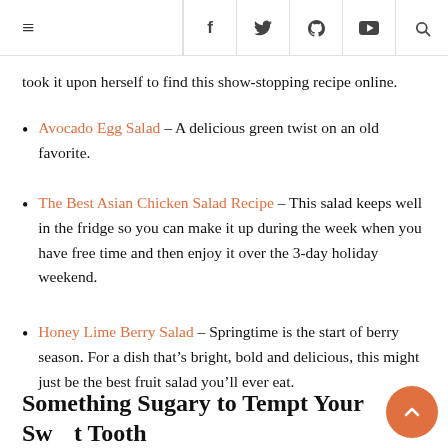≡  f  y  ✪  ▶  🔍
took it upon herself to find this show-stopping recipe online.
Avocado Egg Salad – A delicious green twist on an old favorite.
The Best Asian Chicken Salad Recipe – This salad keeps well in the fridge so you can make it up during the week when you have free time and then enjoy it over the 3-day holiday weekend.
Honey Lime Berry Salad – Springtime is the start of berry season. For a dish that's bright, bold and delicious, this might just be the best fruit salad you'll ever eat.
Something Sugary to Tempt Your Sweet Tooth